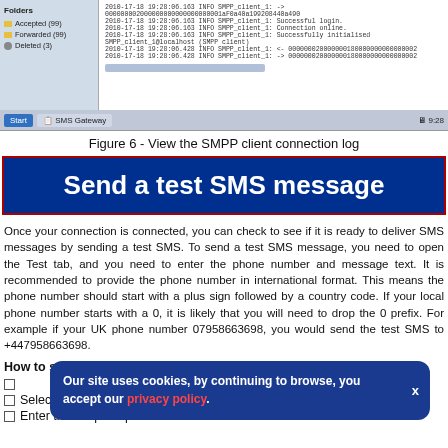[Figure (screenshot): Screenshot of SMS Gateway application showing folder panel on left with Accepted, Forwarded, Deleted folders, and SMPP client connection log on right with timestamps and log entries. Bottom taskbar shows Start button, SMS Gateway button, and time 9:28.]
Figure 6 - View the SMPP client connection log
Send a test SMS message
Once your connection is connected, you can check to see if it is ready to deliver SMS messages by sending a test SMS. To send a test SMS message, you need to open the Test tab, and you need to enter the phone number and message text. It is recommended to provide the phone number in international format. This means the phone number should start with a plus sign followed by a country code. If your local phone number starts with a 0, it is likely that you will need to drop the 0 prefix. For example if your UK phone number 07958663698, you would send the test SMS to +447958663698.
How to send a test SMPP message:
Navigate to the SMS gateway
Select the Test tab
Enter the recipient phone number